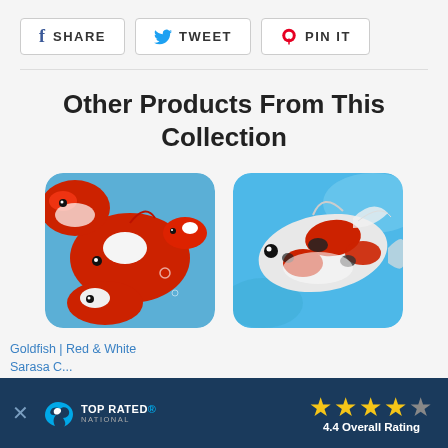[Figure (screenshot): Share buttons row: Facebook SHARE, Twitter TWEET, Pinterest PIN IT]
Other Products From This Collection
[Figure (photo): Photo of red and white goldfish (Sarasa comet) swimming together against blue background]
[Figure (photo): Photo of a red, black and white koi/shubunkin fish swimming against blue background]
Goldfish | Red & White Sarasa C...
[Figure (infographic): Top Rated National banner with 4.4 Overall Rating and 4 gold stars, dark blue background]